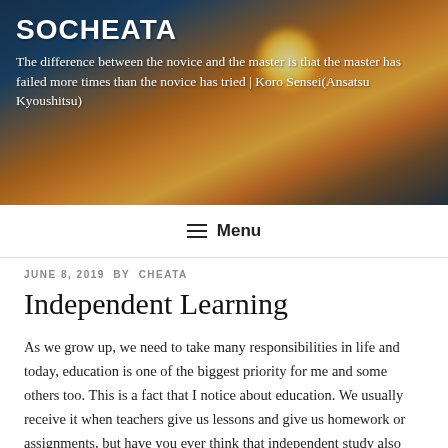[Figure (photo): Sunset over water with silhouetted structures and warm orange and golden sky, serving as the blog header background image.]
SOCHEATA
The difference between the novice and the master is that the master has failed more times than the novice has tried | Koro Sensei(Ansatsu Kyoushitsu)
Menu
JUNE 8, 2019 BY CHEATA
Independent Learning
As we grow up, we need to take many responsibilities in life and today, education is one of the biggest priority for me and some others too. This is a fact that I notice about education. We usually receive it when teachers give us lessons and give us homework or assignments, but have you ever think that independent study also teaches